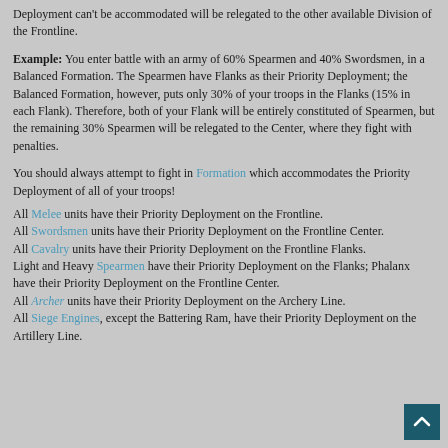Deployment can't be accommodated will be relegated to the other available Division of the Frontline.
Example: You enter battle with an army of 60% Spearmen and 40% Swordsmen, in a Balanced Formation. The Spearmen have Flanks as their Priority Deployment; the Balanced Formation, however, puts only 30% of your troops in the Flanks (15% in each Flank). Therefore, both of your Flank will be entirely constituted of Spearmen, but the remaining 30% Spearmen will be relegated to the Center, where they fight with penalties.
You should always attempt to fight in Formation which accommodates the Priority Deployment of all of your troops!
All Melee units have their Priority Deployment on the Frontline.
All Swordsmen units have their Priority Deployment on the Frontline Center.
All Cavalry units have their Priority Deployment on the Frontline Flanks.
Light and Heavy Spearmen have their Priority Deployment on the Flanks; Phalanx have their Priority Deployment on the Frontline Center.
All Archer units have their Priority Deployment on the Archery Line.
All Siege Engines, except the Battering Ram, have their Priority Deployment on the Artillery Line.